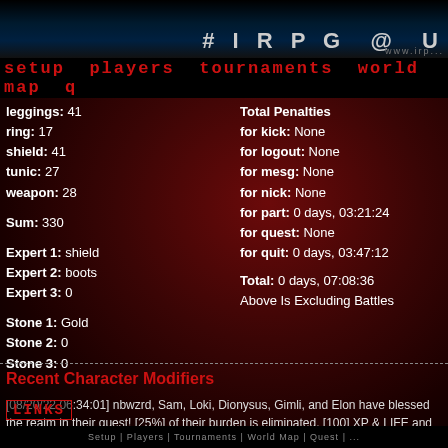#IRPG @ U  www.irpg...
setup players tournaments world map q
leggings: 41
ring: 17
shield: 41
tunic: 27
weapon: 28

Sum: 330

Expert 1: shield
Expert 2: boots
Expert 3: 0

Stone 1: Gold
Stone 2: 0
Stone 3: 0
Total Penalties
for kick: None
for logout: None
for mesg: None
for nick: None
for part: 0 days, 03:21:24
for quest: None
for quit: 0 days, 03:47:12

Total: 0 days, 07:08:36
Above Is Excluding Battles
Recent Character Modifiers
[08/20/22 06:34:01] nbwzrd, Sam, Loki, Dionysus, Gimli, and Elon have blessed the realm in their quest! [25%] of their burden is eliminated, [100] XP & LIFE and they have a chance to... (QUEST ENDED)
Setup | Players | Tournaments | World Map | Quest | ...